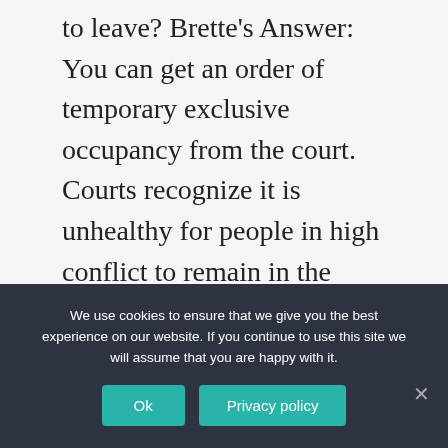to leave? Brette's Answer: You can get an order of temporary exclusive occupancy from the court. Courts recognize it is unhealthy for people in high conflict to remain in the same home.
What happens to a joint property after divorce?
In case a property is registered solely in the same of the wife and she is also the sole applicant of home
We use cookies to ensure that we give you the best experience on our website. If you continue to use this site we will assume that you are happy with it.